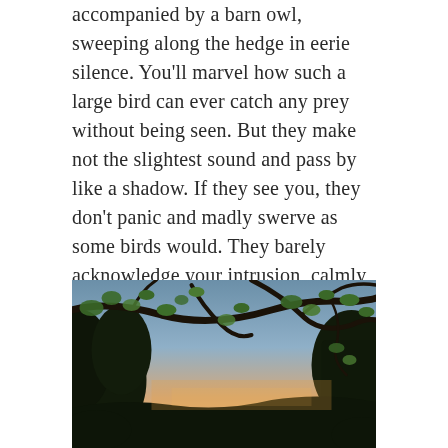accompanied by a barn owl, sweeping along the hedge in eerie silence. You'll marvel how such a large bird can ever catch any prey without being seen. But they make not the slightest sound and pass by like a shadow. If they see you, they don't panic and madly swerve as some birds would. They barely acknowledge your intrusion, calmly changing direction and floating over the hedge to continue on the other side. They seem not to flap their wings, but soar and glide as if carried by the wind.
[Figure (photo): A twilight/sunset landscape photograph taken looking through silhouetted tree branches with green leaves in the foreground. The sky shows a gradient from pale blue at the top to warm orange/pink near the horizon. Dark hedgerows and flat fields are visible in the lower portion of the image.]